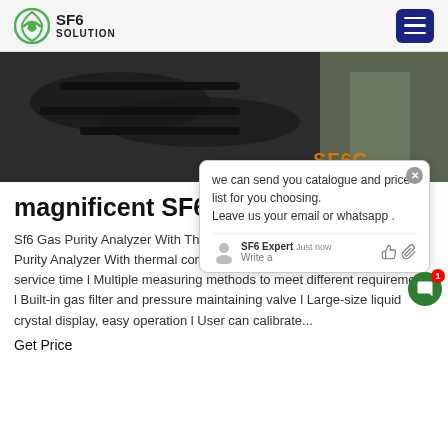SF6 SOLUTION
[Figure (photo): Hero image showing SF6 equipment/cables on dark surface, with SF6 watermark text in orange on the right side]
magnificent SF6 purity filter prices
Sf6 Gas Purity Analyzer With Thermal Conductivity Sensor. Sf6 Gas Purity Analyzer With thermal conductivity sensor 1.Features: l Long service time l Multiple measuring methods to meet different requirements l Built-in gas filter and pressure maintaining valve l Large-size liquid crystal display, easy operation l User can calibrate...
Get Price